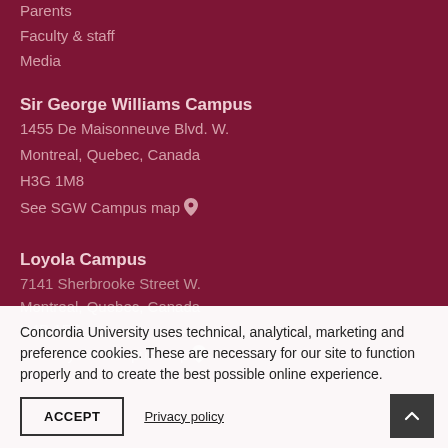Parents
Faculty & staff
Media
Sir George Williams Campus
1455 De Maisonneuve Blvd. W.
Montreal, Quebec, Canada
H3G 1M8
See SGW Campus map
Loyola Campus
7141 Sherbrooke Street W.
Montreal, Quebec, Canada
H4B 1R6
See Loyola Campus map
Concordia University uses technical, analytical, marketing and preference cookies. These are necessary for our site to function properly and to create the best possible online experience.
ACCEPT
Privacy policy